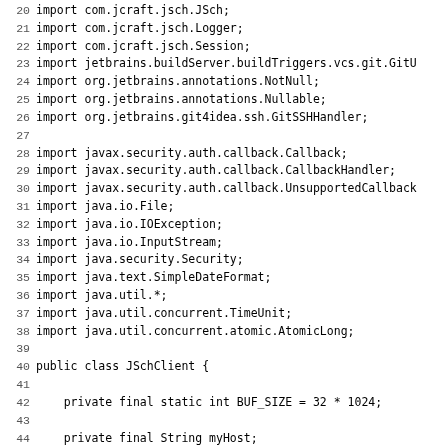Java source code lines 20-51 showing import statements and beginning of JSchClient class definition